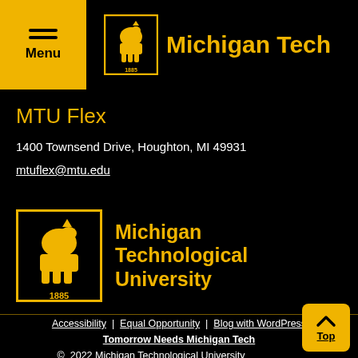Menu | Michigan Tech
MTU Flex
1400 Townsend Drive, Houghton, MI 49931
mtuflex@mtu.edu
[Figure (logo): Michigan Technological University logo with wolf and 1885]
Accessibility | Equal Opportunity | Blog with WordPress | Tomorrow Needs Michigan Tech | © 2022 Michigan Technological University